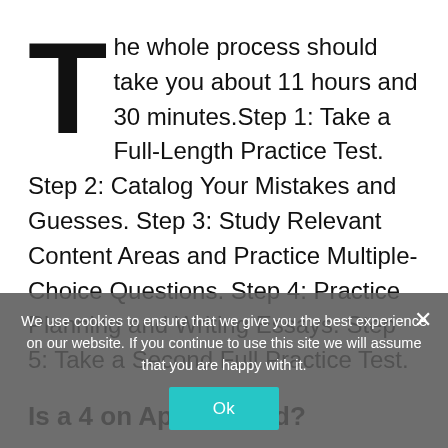The whole process should take you about 11 hours and 30 minutes.Step 1: Take a Full-Length Practice Test. Step 2: Catalog Your Mistakes and Guesses. Step 3: Study Relevant Content Areas and Practice Multiple-Choice Questions. Step 4: Practice Planning and Writing Essays. Step 5: Take a Second Full Practice Test.
Is a 4 on Apush good?
A score of 3 or higher is generally considered good, because that means you passed the exam! A 4 is considered, and a 5 is the best score you can get since it is the highest score.
What score...